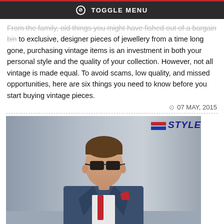TOGGLE MENU
From the family, old things you might have fished out of a bargain bin to exclusive, designer pieces of jewellery from a time long gone, purchasing vintage items is an investment in both your personal style and the quality of your collection. However, not all vintage is made equal. To avoid scams, low quality, and missed opportunities, here are six things you need to know before you start buying vintage pieces.
07 MAY, 2015
[Figure (photo): Man wearing a navy blue blazer, white shirt with red tie/scarf, red pocket square, and black sunglasses, posing in a fashion editorial style. STYLER logo visible in top right corner of image.]